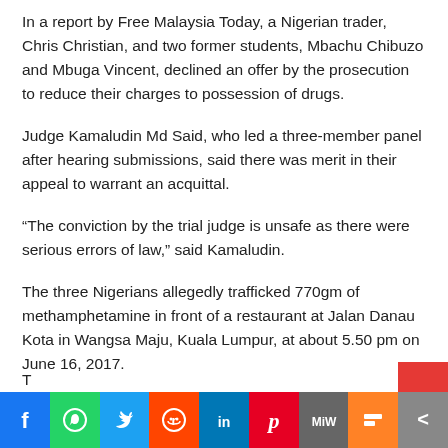In a report by Free Malaysia Today, a Nigerian trader, Chris Christian, and two former students, Mbachu Chibuzo and Mbuga Vincent, declined an offer by the prosecution to reduce their charges to possession of drugs.
Judge Kamaludin Md Said, who led a three-member panel after hearing submissions, said there was merit in their appeal to warrant an acquittal.
“The conviction by the trial judge is unsafe as there were serious errors of law,” said Kamaludin.
The three Nigerians allegedly trafficked 770gm of methamphetamine in front of a restaurant at Jalan Danau Kota in Wangsa Maju, Kuala Lumpur, at about 5.50 pm on June 16, 2017.
[Figure (infographic): Social media share bar with buttons for Facebook, WhatsApp, Twitter, Reddit, LinkedIn, Pinterest, MeWe, Mix, and More]